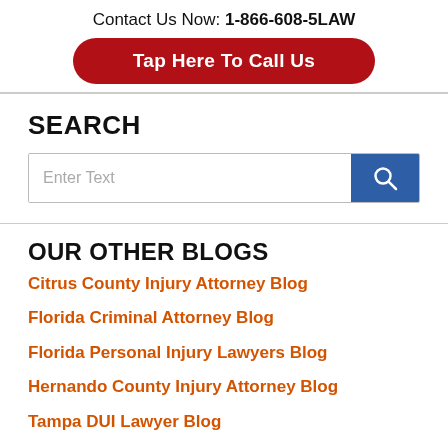Contact Us Now: 1-866-608-5LAW
Tap Here To Call Us
SEARCH
Enter Text
OUR OTHER BLOGS
Citrus County Injury Attorney Blog
Florida Criminal Attorney Blog
Florida Personal Injury Lawyers Blog
Hernando County Injury Attorney Blog
Tampa DUI Lawyer Blog